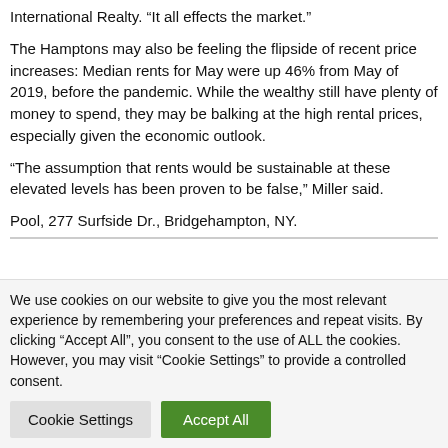International Realty. “It all effects the market.”
The Hamptons may also be feeling the flipside of recent price increases: Median rents for May were up 46% from May of 2019, before the pandemic. While the wealthy still have plenty of money to spend, they may be balking at the high rental prices, especially given the economic outlook.
“The assumption that rents would be sustainable at these elevated levels has been proven to be false,” Miller said.
Pool, 277 Surfside Dr., Bridgehampton, NY.
We use cookies on our website to give you the most relevant experience by remembering your preferences and repeat visits. By clicking “Accept All”, you consent to the use of ALL the cookies. However, you may visit "Cookie Settings" to provide a controlled consent.